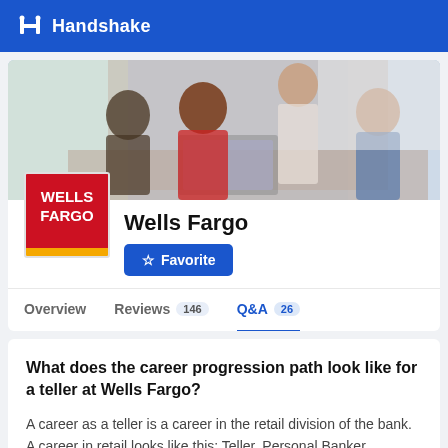Handshake
[Figure (photo): Office team meeting photo used as company banner; four people around a laptop in a bright office setting]
[Figure (logo): Wells Fargo red square logo with white text WELLS FARGO and yellow stripe at bottom]
Wells Fargo
Favorite
Overview  Reviews 146  Q&A 26
What does the career progression path look like for a teller at Wells Fargo?
A career as a teller is a career in the retail division of the bank. A career in retail looks like this: Teller, Personal Banker, Supporting Manager, Branch Manager, all the way to District